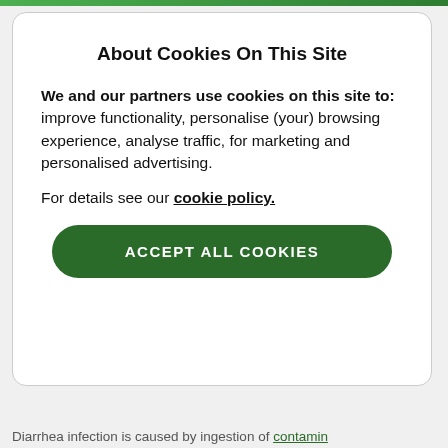About Cookies On This Site
We and our partners use cookies on this site to: improve functionality, personalise (your) browsing experience, analyse traffic, for marketing and personalised advertising.
For details see our cookie policy.
ACCEPT ALL COOKIES
Diarrhea infection is caused by ingestion of contamin